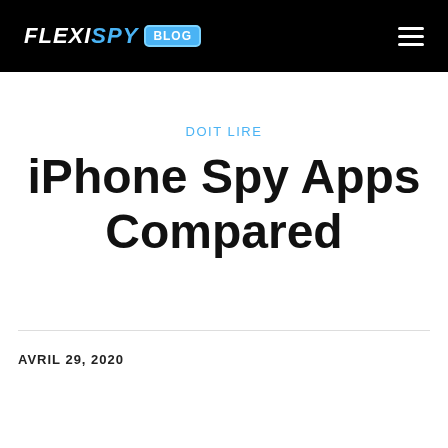FLEXISPY BLOG
DOIT LIRE
iPhone Spy Apps Compared
AVRIL 29, 2020